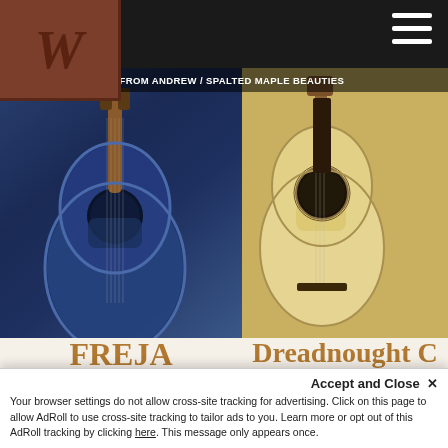[Figure (screenshot): Website header with dark navigation bar, brown leather logo box with stylized W, and hamburger menu icon]
NEWS / ESSAYS FROM ANDREW / SPALTED MAPLE BEAUTIES
[Figure (photo): Blue acoustic guitar (Freja 1023 BSB) on dark background]
[Figure (photo): Natural wood acoustic guitar (Dreadnought C 1050) on wooden surface]
FREJA
1023 BSB
Dreadnought C
1050
$2,599.99  $1,719.99
Starting at $156/mo
with affirm.
$1,860.99  $1,599.99
Starting at $145/mo
with affirm.
Learn more
Learn more
READ MORE
Accept and Close ✕
Your browser settings do not allow cross-site tracking for advertising. Click on this page to allow AdRoll to use cross-site tracking to tailor ads to you. Learn more or opt out of this AdRoll tracking by clicking here. This message only appears once.